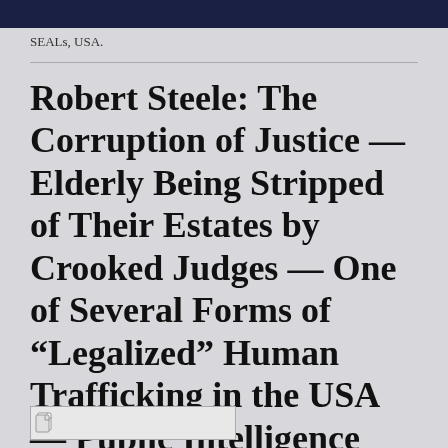SEALs, USA.
Robert Steele: The Corruption of Justice — Elderly Being Stripped of Their Estates by Crooked Judges — One of Several Forms of “Legalized” Human Trafficking in the USA — Public Intelligence Blog – May 23, 2020
[Figure (other): Small document/image thumbnail icon at the bottom left of the page]